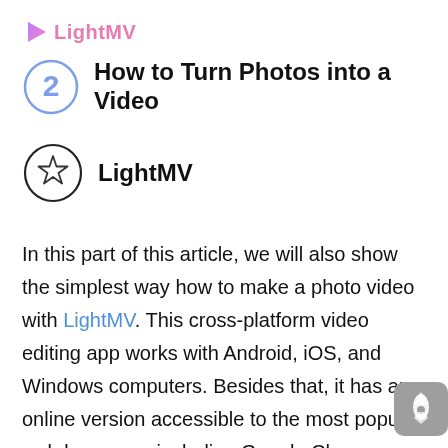[Figure (logo): LightMV logo with pink/purple play button triangle icon and pink 'LightMV' text]
How to Turn Photos into a Video
LightMV
In this part of this article, we will also show the simplest way how to make a photo video with LightMV. This cross-platform video editing app works with Android, iOS, and Windows computers. Besides that, it has an online version accessible to the most popular web browsers, including Google Chrome, Mozilla Firefox, and Safari. With this, it allows you to make a video out of photos easily by using its large collection of video templates. After having an idea